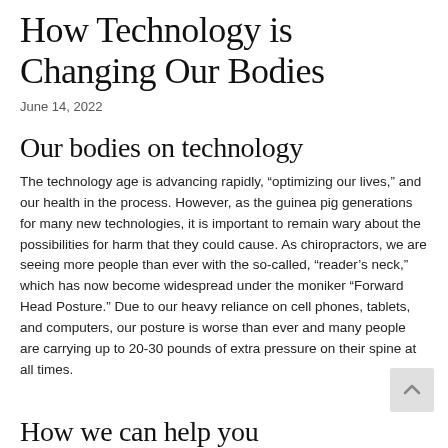How Technology is Changing Our Bodies
June 14, 2022
Our bodies on technology
The technology age is advancing rapidly, “optimizing our lives,” and our health in the process. However, as the guinea pig generations for many new technologies, it is important to remain wary about the possibilities for harm that they could cause. As chiropractors, we are seeing more people than ever with the so-called, “reader’s neck,” which has now become widespread under the moniker “Forward Head Posture.” Due to our heavy reliance on cell phones, tablets, and computers, our posture is worse than ever and many people are carrying up to 20-30 pounds of extra pressure on their spine at all times.
How we can help you